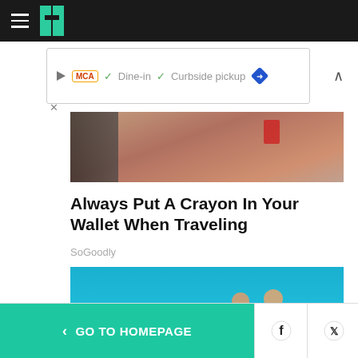HuffPost navigation header with hamburger menu and logo
[Figure (screenshot): Ad banner showing play icon, MCA logo, checkmarks for Dine-in and Curbside pickup, a blue direction sign icon, and a chevron up button with X close]
[Figure (photo): Partial top image showing a hand or arm near dark objects, cropped]
Always Put A Crayon In Your Wallet When Traveling
SoGoodly
[Figure (photo): Older couple dressed in white walking on a white sandy beach under a clear blue sky]
< GO TO HOMEPAGE  [Facebook icon]  [Twitter icon]  X